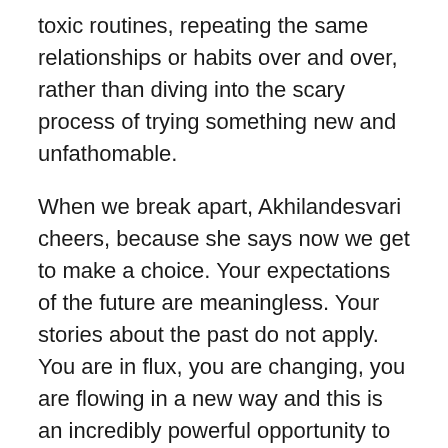toxic routines, repeating the same relationships or habits over and over, rather than diving into the scary process of trying something new and unfathomable.
When we break apart, Akhilandesvari cheers, because she says now we get to make a choice. Your expectations of the future are meaningless. Your stories about the past do not apply. You are in flux, you are changing, you are flowing in a new way and this is an incredibly powerful opportunity to CHOOSE how you want to put yourself back together as YOU would like to.
Oh yes, and she does all that before she heads to the river and selects her ride: the crocodile.
Crocodiles represent our reptilian brain, where we feel fear. And their predatory power is that they pluck their prey from the banks of the river and spin it until it is beyond